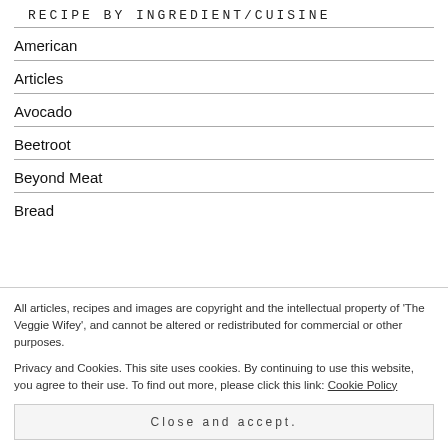RECIPE BY INGREDIENT/CUISINE
American
Articles
Avocado
Beetroot
Beyond Meat
Bread
All articles, recipes and images are copyright and the intellectual property of 'The Veggie Wifey', and cannot be altered or redistributed for commercial or other purposes.
Privacy and Cookies. This site uses cookies. By continuing to use this website, you agree to their use. To find out more, please click this link: Cookie Policy
Close and accept.